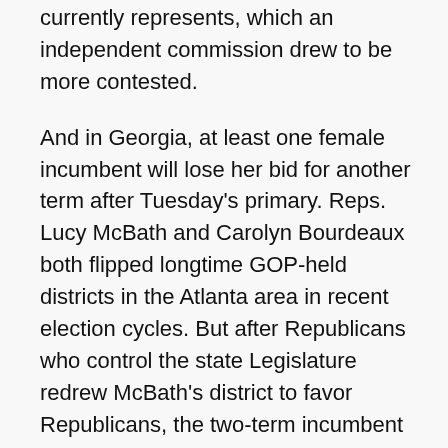currently represents, which an independent commission drew to be more contested.
And in Georgia, at least one female incumbent will lose her bid for another term after Tuesday's primary. Reps. Lucy McBath and Carolyn Bourdeaux both flipped longtime GOP-held districts in the Atlanta area in recent election cycles. But after Republicans who control the state Legislature redrew McBath's district to favor Republicans, the two-term incumbent chose to take on the first-term Bourdeaux in a more Democrat-friendly district.
Some women are benefiting from the shakeup. In Oklahoma, GOP Rep. Stephanie Bice's district in the Oklahoma City area — previously held by Democratic Rep. Kendra Horn — was